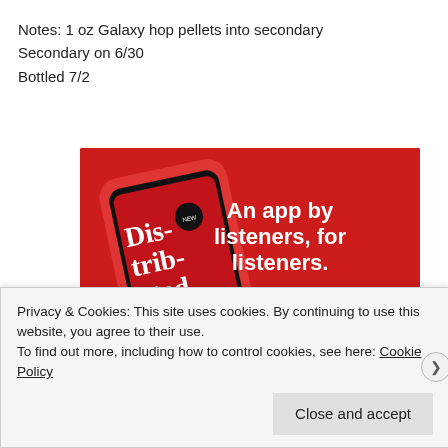Notes: 1 oz Galaxy hop pellets into secondary
Secondary on 6/30
Bottled 7/2
[Figure (screenshot): Advertisement banner with red background showing a smartphone displaying a podcast app screen with text 'Dis-trib-uted', and the headline 'An app by listeners, for listeners.' with a 'Download now' button.]
Privacy & Cookies: This site uses cookies. By continuing to use this website, you agree to their use.
To find out more, including how to control cookies, see here: Cookie Policy
Close and accept